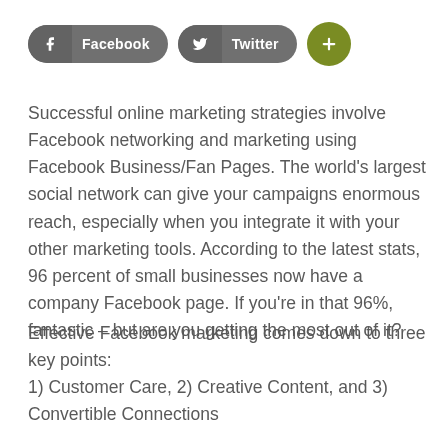[Figure (other): Social sharing buttons: Facebook button (grey pill), Twitter button (grey pill), and a green plus/add button (circle)]
Successful online marketing strategies involve Facebook networking and marketing using Facebook Business/Fan Pages. The world's largest social network can give your campaigns enormous reach, especially when you integrate it with your other marketing tools. According to the latest stats, 96 percent of small businesses now have a company Facebook page. If you're in that 96%, fantastic – but are you getting the most out of it?
Effective Facebook marketing comes down to three key points:
1) Customer Care, 2) Creative Content, and 3) Convertible Connections